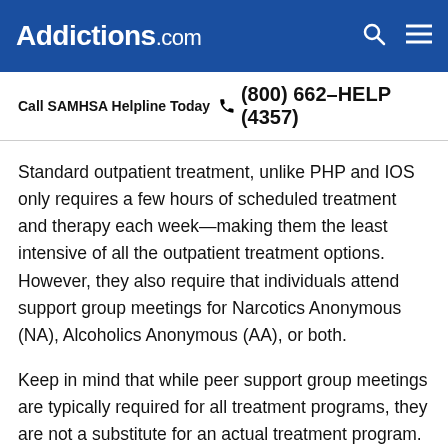Addictions.com
Call SAMHSA Helpline Today  (800) 662-HELP (4357)
Standard outpatient treatment, unlike PHP and IOS only requires a few hours of scheduled treatment and therapy each week—making them the least intensive of all the outpatient treatment options. However, they also require that individuals attend support group meetings for Narcotics Anonymous (NA), Alcoholics Anonymous (AA), or both.
Keep in mind that while peer support group meetings are typically required for all treatment programs, they are not a substitute for an actual treatment program. However, they are incredibly important for building a strong foundation of support, guidance,